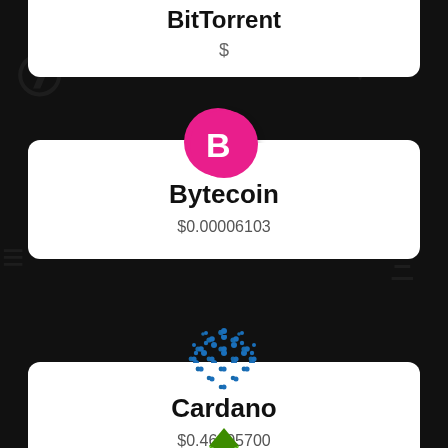[Figure (infographic): Dark background with faint cryptocurrency symbols watermark]
BitTorrent
$
[Figure (logo): Bytecoin pink circular logo with stylized B]
Bytecoin
$0.00006103
[Figure (logo): Cardano blue dot pattern logo]
Cardano
$0.46605700
[Figure (logo): Ethereum Classic green diamond logo]
Ethereum Classic